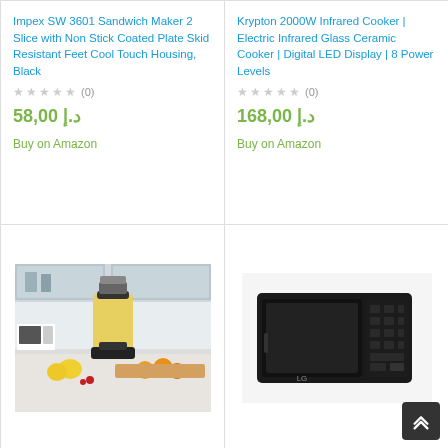Impex SW 3601 Sandwich Maker 2 Slice with Non Stick Coated Plate Skid Resistant Feet Cool Touch Housing, Black
★★★★★ (0)
د.إ 58,00
Buy on Amazon
Krypton 2000W Infrared Cooker | Electric Infrared Glass Ceramic Cooker | Digital LED Display | 8 Power Levels
★★★★★ (0)
د.إ 168,00
Buy on Amazon
[Figure (photo): A blender with orange juice in a kitchen setting with fruits on a cutting board]
[Figure (photo): A black LG microwave oven]